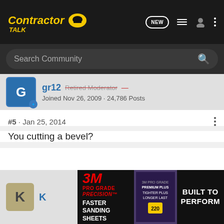Contractor Talk — NEW | list | user | menu
Search Community
gr12 · Retired Moderator
Joined Nov 26, 2009 · 24,786 Posts
#5 · Jan 25, 2014
You cutting a bevel?
K · J...
[Figure (screenshot): 3M Pro Grade Precision advertisement banner: FASTER SANDING SHEETS | BUILT TO PERFORM]